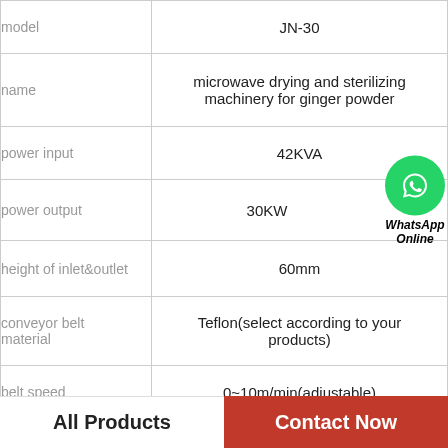|  |  |
| --- | --- |
| model | JN-30 |
| name | microwave drying and sterilizing machinery for ginger powder |
| power input | 42KVA |
| power output | 30KW |
| height of inlet&outlet | 60mm |
| conveyor belt material | Teflon(select according to your products) |
| belt speed | 0~10m/min(adjustable) |
|  |  |
[Figure (logo): WhatsApp Online button with green phone icon circle and italic bold text 'WhatsApp Online']
All Products   Contact Now